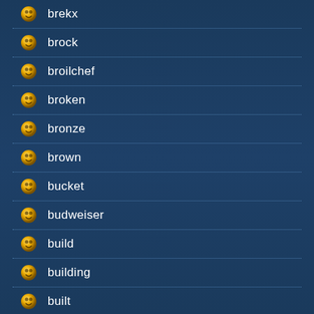brekx
brock
broilchef
broken
bronze
brown
bucket
budweiser
build
building
built
built-in
bull
bullet
bundaberg